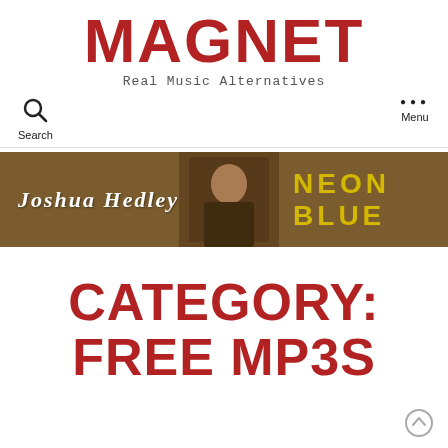MAGNET
Real Music Alternatives
Search
Menu
[Figure (other): Joshua Hedley Neon Blue advertisement banner with brown background, artist photo, and stylized text]
CATEGORY: FREE MP3S